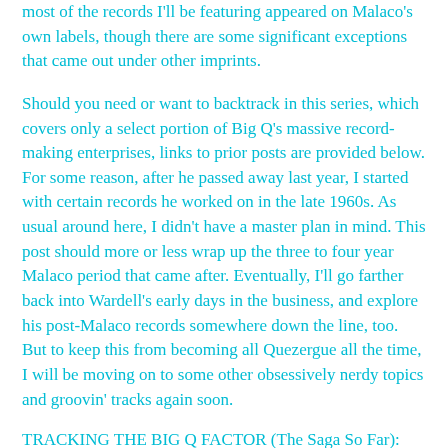most of the records I'll be featuring appeared on Malaco's own labels, though there are some significant exceptions that came out under other imprints.
Should you need or want to backtrack in this series, which covers only a select portion of Big Q's massive record-making enterprises, links to prior posts are provided below. For some reason, after he passed away last year, I started with certain records he worked on in the late 1960s. As usual around here, I didn't have a master plan in mind. This post should more or less wrap up the three to four year Malaco period that came after. Eventually, I'll go farther back into Wardell's early days in the business, and explore his post-Malaco records somewhere down the line, too. But to keep this from becoming all Quezergue all the time, I will be moving on to some other obsessively nerdy topics and groovin' tracks again soon.
TRACKING THE BIG Q FACTOR (The Saga So Far):
Part 1 - Trying to Make the Barons Rule
Part 2 - The Unemployed & the Barons
Part 3 - More on the Malaco School Bus Sessions & Beyond
Part 4a - More Multi-Label Malaco Sessions